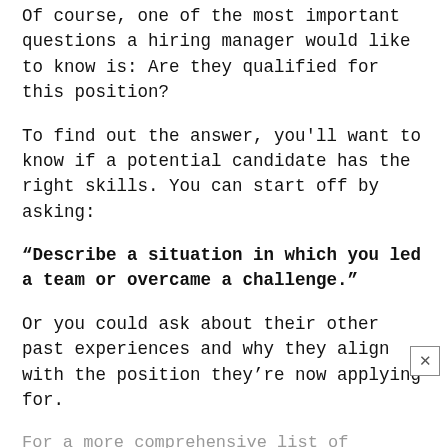Of course, one of the most important questions a hiring manager would like to know is: Are they qualified for this position?
To find out the answer, you'll want to know if a potential candidate has the right skills. You can start off by asking:
“Describe a situation in which you led a team or overcame a challenge.”
Or you could ask about their other past experiences and why they align with the position they’re now applying for.
For a more comprehensive list of questions to prepare for your next interview, head on over